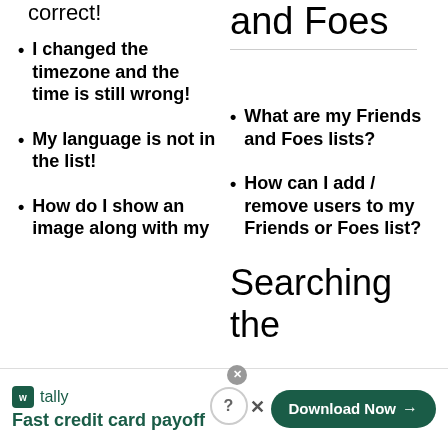correct!
and Foes
I changed the timezone and the time is still wrong!
What are my Friends and Foes lists?
How can I add / remove users to my Friends or Foes list?
My language is not in the list!
How do I show an image along with my
Searching the